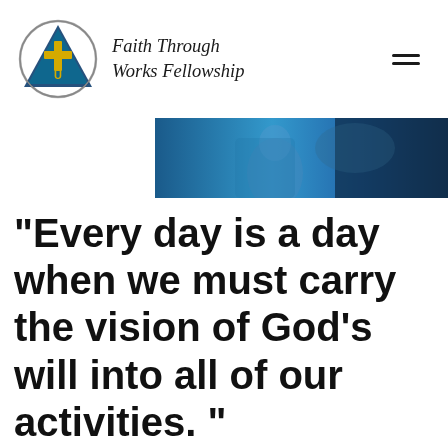Faith Through Works Fellowship
[Figure (photo): A dark blue-toned banner/hero image showing a blurred person, used as a website header image for Faith Through Works Fellowship.]
"Every day is a day when we must carry the vision of God's will into all of our activities. " Big Book pg 83